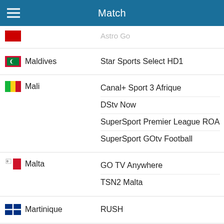Match
| Country | Channel |
| --- | --- |
| (partial/cut off) | Astro Go |
| Maldives | Star Sports Select HD1 |
| Mali | Canal+ Sport 3 Afrique
DStv Now
SuperSport Premier League ROA
SuperSport GOtv Football |
| Malta | GO TV Anywhere
TSN2 Malta |
| Martinique | RUSH |
| Mauritania | beIN Sports Premium 1
beIN Sports English
beIN SPORTS CONNECT
Canal+ Sport 3 Afrique |